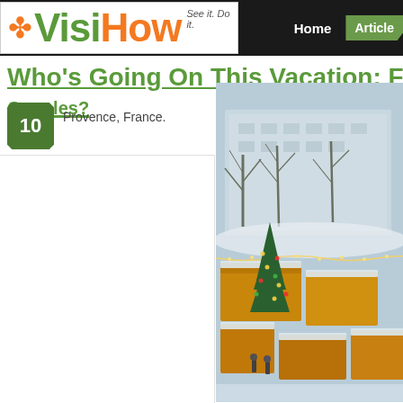VisiHow — See it. Do it. | Home | Articles
Who's Going On This Vacation: Family? Couples? — Provence, France.
Provence, France.
[Figure (photo): Aerial view of a winter Christmas market with illuminated wooden stalls, snow-covered rooftops, bare trees, and a decorated Christmas tree with lights. People visible in the square.]